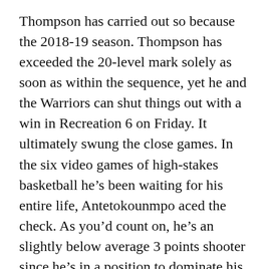Thompson has carried out so because the 2018-19 season. Thompson has exceeded the 20-level mark solely as soon as within the sequence, yet he and the Warriors can shut things out with a win in Recreation 6 on Friday. It ultimately swung the close games. In the six video games of high-stakes basketball he’s been waiting for his entire life, Antetokounmpo aced the check. As you’d count on, he’s an slightly below average 3 points shooter since he’s in a position to dominate his defenders off the dribble and by jumping over them. In a masterful efficiency Giannis peaked completely in Game 6 with a playoff profession-high 50 points to clinch the win for his staff and ship what he had all the time dreamed of.